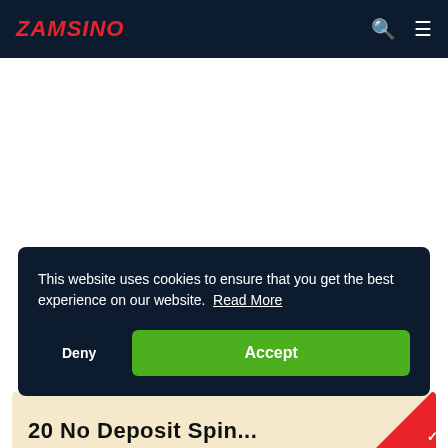ZAMSINO
[Figure (other): White rectangular content area placeholder]
This website uses cookies to ensure that you get the best experience on our website. Read More
Deny
Accept
20 No Deposit Spin...